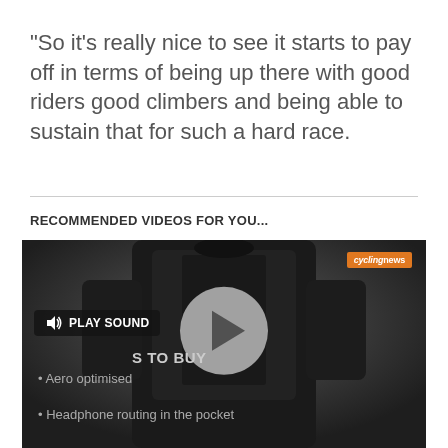"So it's really nice to see it starts to pay off in terms of being up there with good riders good climbers and being able to sustain that for such a hard race.
RECOMMENDED VIDEOS FOR YOU...
[Figure (screenshot): Video player showing a cyclist wearing a black aero jersey, with a play button overlay, a 'PLAY SOUND' button on the left, cyclingnews logo in top right, and text overlays reading 'S TO BUY', 'Aero optimised', and 'Headphone routing in the pocket']